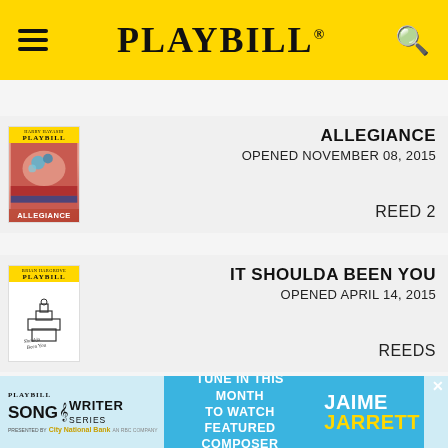PLAYBILL
ALLEGIANCE
OPENED NOVEMBER 08, 2015
REED 2
IT SHOULDA BEEN YOU
OPENED APRIL 14, 2015
REEDS
[Figure (screenshot): Partial list item showing third Playbill entry (if/then, 2014)]
[Figure (infographic): Advertisement banner: Playbill Song & Writer Series presented by City National Bank – Tune in this month to watch featured composer Jaime Jarrett]